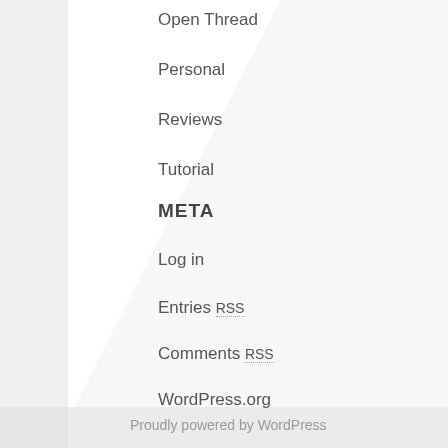Open Thread
Personal
Reviews
Tutorial
META
Log in
Entries RSS
Comments RSS
WordPress.org
Proudly powered by WordPress